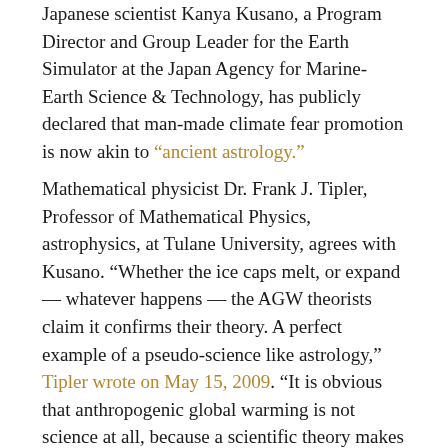Japanese scientist Kanya Kusano, a Program Director and Group Leader for the Earth Simulator at the Japan Agency for Marine-Earth Science & Technology, has publicly declared that man-made climate fear promotion is now akin to “ancient astrology.”
Mathematical physicist Dr. Frank J. Tipler, Professor of Mathematical Physics, astrophysics, at Tulane University, agrees with Kusano. “Whether the ice caps melt, or expand — whatever happens — the AGW theorists claim it confirms their theory. A perfect example of a pseudo-science like astrology,” Tipler wrote on May 15, 2009. “It is obvious that anthropogenic global warming is not science at all, because a scientific theory makes non-obvious predictions which are then compared with observations that the average person can check for himself,” Tipler explained.
“As we know from our own observations, AGW theory has